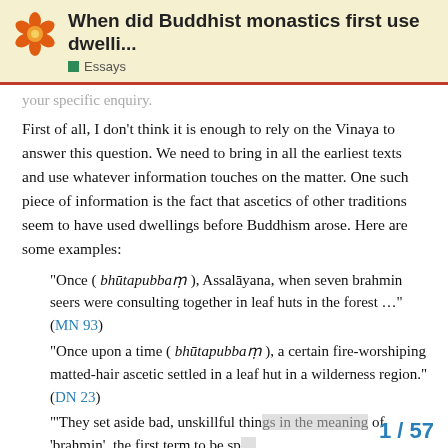When did Buddhist monastics first use dwelli... Essays
your specific enquiry.
First of all, I don't think it is enough to rely on the Vinaya to answer this question. We need to bring in all the earliest texts and use whatever information touches on the matter. One such piece of information is the fact that ascetics of other traditions seem to have used dwellings before Buddhism arose. Here are some examples:
“Once ( bhūtapubbaṃ ), Assalāyana, when seven brahmin seers were consulting together in leaf huts in the forest …” (MN 93)
“Once upon a time ( bhūtapubbaṃ ), a certain fire-worshiping matted-hair ascetic settled in a leaf hut in a wilderness region.” (DN 23)
“‘They set aside bad, unskillful things in the meaning of ‘brahmin’, the first term to be sp…
1 / 57